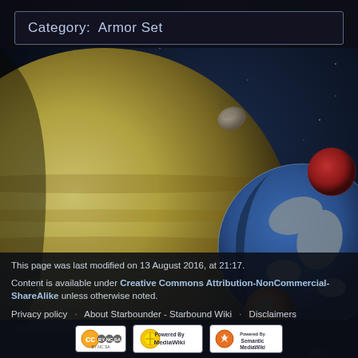Category:  Armor Set
[Figure (illustration): Space scene background showing planets, asteroids, and starfield. A large yellow-brown gas giant on the left, a blue Earth-like planet with a red moon on the right, a smaller orange-brown planet at bottom center, and various asteroids floating in space.]
This page was last modified on 13 August 2016, at 21:17.
Content is available under Creative Commons Attribution-NonCommercial-ShareAlike unless otherwise noted.
Privacy policy   About Starbounder - Starbound Wiki   Disclaimers